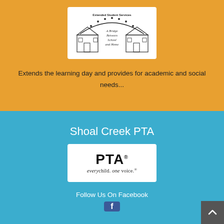[Figure (logo): Extended Student Services logo: school buildings with arch text 'Extended Student Services' and subtitle 'A Bridge Between School and Home']
Extends the learning day and provides for academic and social needs...
Shoal Creek PTA
[Figure (logo): PTA logo with bold stylized 'PTA' text and tagline 'every child. one voice.']
Follow Us On Facebook